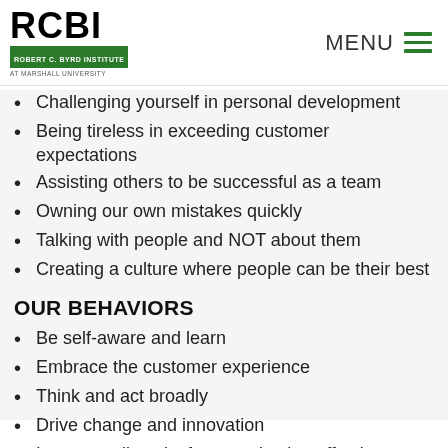RCBI | Robert C. Byrd Institute at Marshall University | MENU
Challenging yourself in personal development
Being tireless in exceeding customer expectations
Assisting others to be successful as a team
Owning our own mistakes quickly
Talking with people and NOT about them
Creating a culture where people can be their best
OUR BEHAVIORS
Be self-aware and learn
Embrace the customer experience
Think and act broadly
Drive change and innovation
Leverage diversity for organization effectiveness